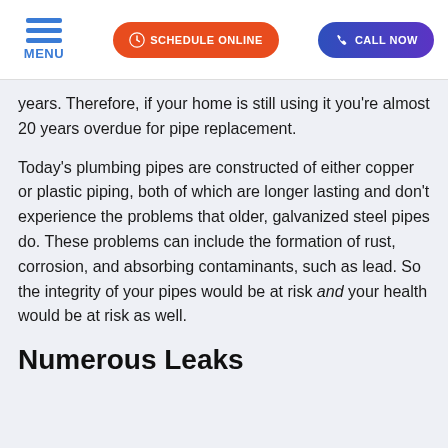MENU | SCHEDULE ONLINE | CALL NOW
years. Therefore, if your home is still using it you're almost 20 years overdue for pipe replacement.
Today's plumbing pipes are constructed of either copper or plastic piping, both of which are longer lasting and don't experience the problems that older, galvanized steel pipes do. These problems can include the formation of rust, corrosion, and absorbing contaminants, such as lead. So the integrity of your pipes would be at risk and your health would be at risk as well.
Numerous Leaks